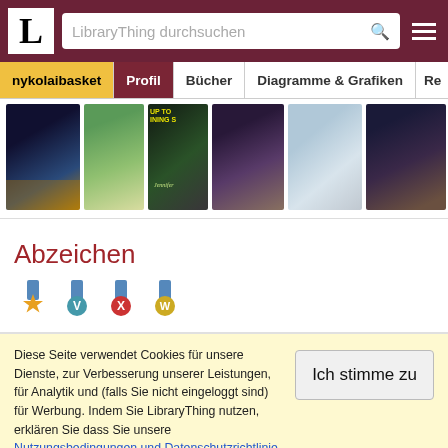LibraryThing - Header navigation with logo, search bar, and hamburger menu
[Figure (screenshot): LibraryThing website header with logo L, search bar 'LibraryThing durchsuchen', and hamburger menu on dark red background]
[Figure (screenshot): Navigation tabs: nykolaibasket (yellow), Profil (dark red), Bücher, Diagramme & Grafiken, Re...]
[Figure (screenshot): Row of book covers showing 6 different book spines/covers in a horizontal strip]
Abzeichen
[Figure (infographic): Four badges/medals displayed in a row: star medal (orange/gold), V medal (blue/teal), X medal (blue/red), M medal (blue/gold)]
Diese Seite verwendet Cookies für unsere Dienste, zur Verbesserung unserer Leistungen, für Analytik und (falls Sie nicht eingeloggt sind) für Werbung. Indem Sie LibraryThing nutzen, erklären Sie dass Sie unsere Nutzungsbedingungen und Datenschutzrichtlinie gelesen und verstanden haben. Die Nutzung unserer Webseite und Dienste unterliegt diesen Richtlinien und Geschäftsbedingungen.